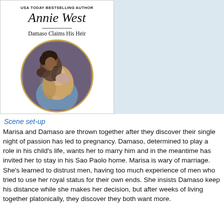[Figure (illustration): Book cover for 'Damaso Claims His Heir' by Annie West (USA Today Bestselling Author). Shows a romantic couple in a circular framed image — a man and woman in an intimate embrace. The cover has white background with the author name in large italic serif font, a horizontal rule, and the book title below.]
Scene set-up
Marisa and Damaso are thrown together after they discover their single night of passion has led to pregnancy. Damaso, determined to play a role in his child's life, wants her to marry him and in the meantime has invited her to stay in his Sao Paolo home. Marisa is wary of marriage. She's learned to distrust men, having too much experience of men who tried to use her royal status for their own ends. She insists Damaso keep his distance while she makes her decision, but after weeks of living together platonically, they discover they both want more.